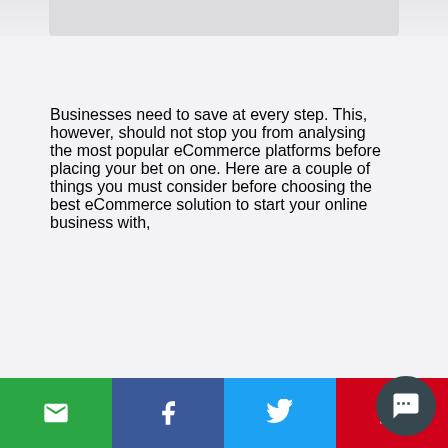[Figure (photo): Partial top portion of a photo showing a person or business scene, cropped at the top of the page]
Businesses need to save at every step. This, however, should not stop you from analysing the most popular eCommerce platforms before placing your bet on one. Here are a couple of things you must consider before choosing the best eCommerce solution to start your online business with,
[Figure (infographic): Social media share bar at the bottom with email (green), Facebook (dark blue), Twitter (light blue), and LinkedIn/red buttons, plus a dark circular chat icon in the bottom-right corner]